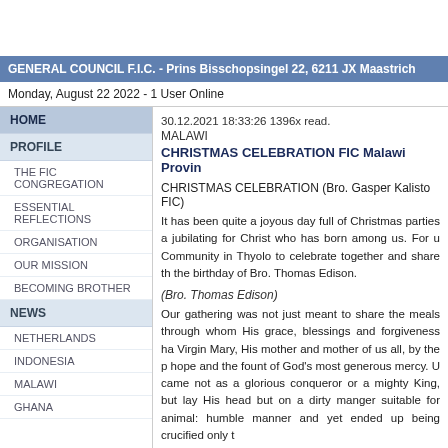GENERAL COUNCIL F.I.C. - Prins Bisschopsingel 22, 6211 JX Maastricht
Monday, August 22 2022  - 1 User Online
HOME
PROFILE
THE FIC CONGREGATION
ESSENTIAL REFLECTIONS
ORGANISATION
OUR MISSION
BECOMING BROTHER
NEWS
NETHERLANDS
INDONESIA
MALAWI
GHANA
30.12.2021 18:33:26 1396x read.
MALAWI
CHRISTMAS CELEBRATION FIC Malawi Province
CHRISTMAS CELEBRATION (Bro. Gasper Kalisto FIC)
It has been quite a joyous day full of Christmas parties and jubilating for Christ who has born among us. For us Community in Thyolo to celebrate together and share the birthday of Bro. Thomas Edison.
(Bro. Thomas Edison)
Our gathering was not just meant to share the meals through whom His grace, blessings and forgiveness have Virgin Mary, His mother and mother of us all, by the hope and the fount of God's most generous mercy. Un came not as a glorious conqueror or a mighty King, but lay His head but on a dirty manger suitable for animal: humble manner and yet ended up being crucified only t